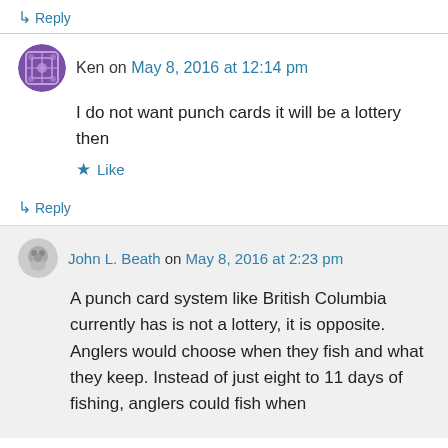↳ Reply
Ken on May 8, 2016 at 12:14 pm
I do not want punch cards it will be a lottery then
★ Like
↳ Reply
John L. Beath on May 8, 2016 at 2:23 pm
A punch card system like British Columbia currently has is not a lottery, it is opposite. Anglers would choose when they fish and what they keep. Instead of just eight to 11 days of fishing, anglers could fish when